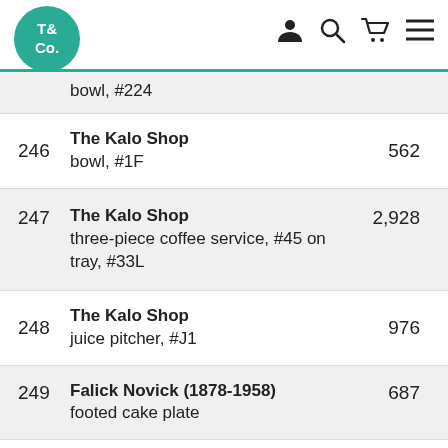T& Co. navigation header with logo and icons
| Lot | Description | Price |
| --- | --- | --- |
|  | bowl, #224 |  |
| 246 | The Kalo Shop
bowl, #1F | 562 |
| 247 | The Kalo Shop
three-piece coffee service, #45 on tray, #33L | 2,928 |
| 248 | The Kalo Shop
juice pitcher, #J1 | 976 |
| 249 | Falick Novick (1878-1958)
footed cake plate | 687 |
|  | The Kalo Shop |  |